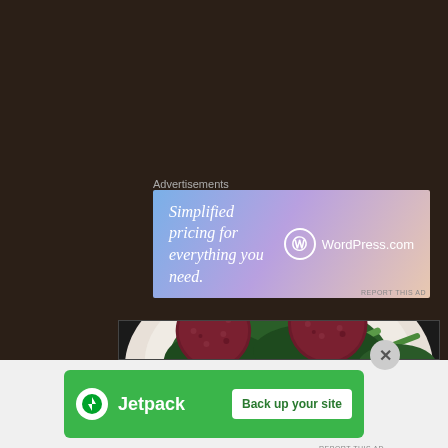dry but perfectly crisped falafels when dipped into the thick yogurt made a wholesome bite in the mouth. Full points to this dish, it was perfection!
[Figure (screenshot): WordPress.com advertisement banner with gradient blue-pink background showing 'Simplified pricing for everything you need.' with WordPress.com logo]
[Figure (photo): Food photograph showing two dark red/beetroot-coated round falafel balls served on a white plate with green salad leaves and asparagus spears, with white yogurt sauce]
[Figure (screenshot): Jetpack advertisement banner on light gray background showing green Jetpack logo and 'Back up your site' white button]